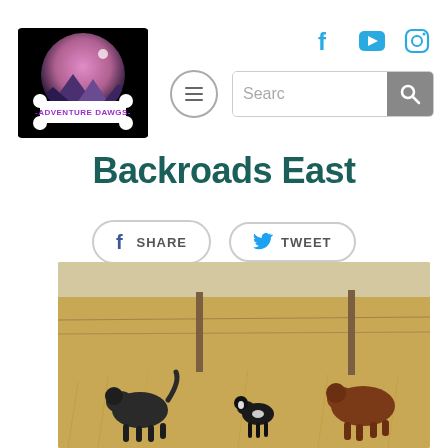[Figure (logo): Adventure Dawgs logo — circular illustration with pink/purple mountains and dark sky, with a bone shape and the text ADVENTURE DAWGS on a black background]
[Figure (infographic): Social media icons row: Facebook (f), YouTube (play button), Instagram (camera) — in light blue/cyan color]
[Figure (infographic): Navigation: hamburger menu button (circle with three lines) and a search bar with magnifying glass icon on grey button]
Backroads East
[Figure (infographic): Two social share buttons: SHARE (Facebook) and TWEET (Twitter), pill-shaped with border]
[Figure (photo): Outdoor photo of three dogs (two dark/black and one smaller black and white) standing in tall dry golden grass field with fence posts in background]